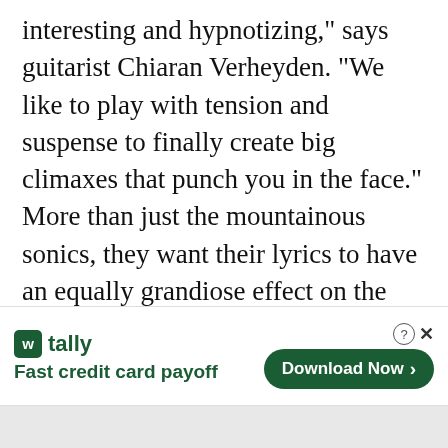interesting and hypnotizing," says guitarist Chiaran Verheyden. "We like to play with tension and suspense to finally create big climaxes that punch you in the face." More than just the mountainous sonics, they want their lyrics to have an equally grandiose effect on the listener. "Conceptually, Meridian tells the story of a solitary wanderer on earth in the absence of other beings," Verheyden explains. "Perpetually tormented by the feeling that there must be someone or something else besides him, the protagonist struggles with the notion of 'gods' and is in a constant state of distrust about their
[Figure (screenshot): Advertisement banner for 'tally' app with tagline 'Fast credit card payoff' and a 'Download Now' button]